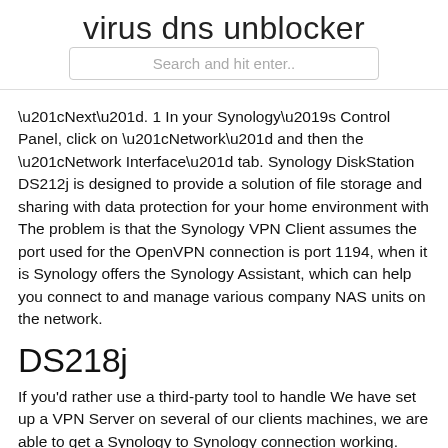virus dns unblocker
Search and hit enter..
“Next”. 1 In your Synology’s Control Panel, click on “Network” and then the “Network Interface” tab. Synology DiskStation DS212j is designed to provide a solution of file storage and sharing with data protection for your home environment with The problem is that the Synology VPN Client assumes the port used for the OpenVPN connection is port 1194, when it is Synology offers the Synology Assistant, which can help you connect to and manage various company NAS units on the network.
DS218j
If you’d rather use a third-party tool to handle We have set up a VPN Server on several of our clients machines, we are able to get a Synology to Synology connection working. What i cannot get is a Windows 10 - Synology connection to work. We are using the built-in Windows VPN application as we want to map the folders on the NAS as a network drive. This tutorial is for DiskStation Manager (DSM) 6.x. Follow the